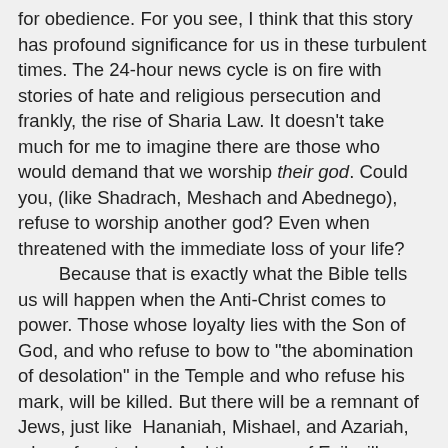for obedience.  For you see, I think that this story has profound significance for us in these turbulent times.  The 24-hour news cycle is on fire with stories of hate and religious persecution and frankly, the rise of Sharia Law.  It doesn't take much for me to imagine there are those who would demand that we worship their god.  Could you, (like Shadrach, Meshach and Abednego), refuse to worship another god?  Even when threatened with the immediate loss of your life?

     Because that is exactly what the Bible tells us will happen when the Anti-Christ comes to power.  Those whose loyalty lies with the Son of God, and who refuse to bow to "the abomination of desolation" in the Temple and who refuse his mark, will be killed.  But there will be a remnant of Jews, just like  Hananiah, Mishael, and Azariah, who refuse to bow.  And the anger of Evil will spread to all believers.

     But like the three faithful men in today’s Scripture, I know and trust that I will be delivered.  It may not be in the way I would choose, but if it is God’s will that I lay down my life while standing for Him, then I am ready.  Either way, I am redeemed.  Like our three heroes, I may not have time to contemplate an answer or a way out of the situation.  I must